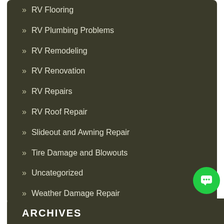» RV Flooring
» RV Plumbing Problems
» RV Remodeling
» RV Renovation
» RV Repairs
» RV Roof Repair
» Slideout and Awning Repair
» Tire Damage and Blowouts
» Uncategorized
» Weather Damage Repair
ARCHIVES